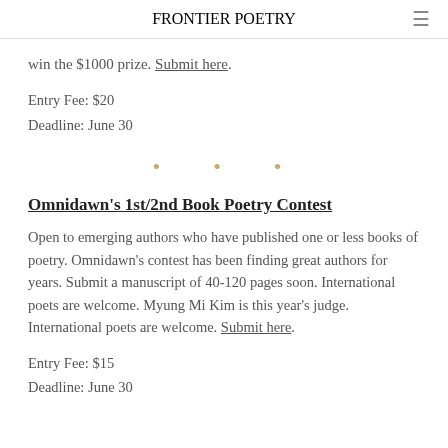FRONTIER POETRY
win the $1000 prize. Submit here.
Entry Fee: $20
Deadline: June 30
[Figure (other): Three decorative dots used as a section divider]
Omnidawn's 1st/2nd Book Poetry Contest
Open to emerging authors who have published one or less books of poetry. Omnidawn's contest has been finding great authors for years. Submit a manuscript of 40-120 pages soon. International poets are welcome. Myung Mi Kim is this year's judge. International poets are welcome. Submit here.
Entry Fee: $15
Deadline: June 30